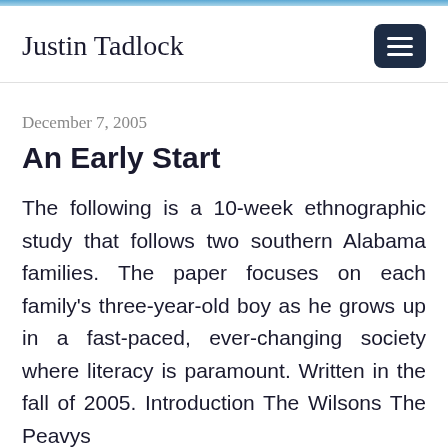Justin Tadlock
December 7, 2005
An Early Start
The following is a 10-week ethnographic study that follows two southern Alabama families. The paper focuses on each family's three-year-old boy as he grows up in a fast-paced, ever-changing society where literacy is paramount. Written in the fall of 2005. Introduction The Wilsons The Peavys